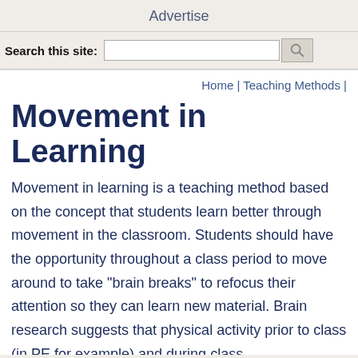Advertise
Search this site:
Home | Teaching Methods |
Movement in Learning
Movement in learning is a teaching method based on the concept that students learn better through movement in the classroom. Students should have the opportunity throughout a class period to move around to take "brain breaks" to refocus their attention so they can learn new material. Brain research suggests that physical activity prior to class (in PE for example) and during class,